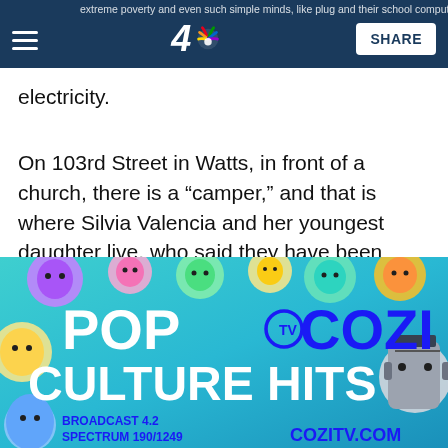NBC 4 — SHARE
electricity.
On 103rd Street in Watts, in front of a church, there is a “camper,” and that is where Silvia Valencia and her youngest daughter live, who said they have been there after getting evicted.
[Figure (advertisement): Cozi TV advertisement banner reading 'POP COZI TV CULTURE HITS' with character faces on a teal background, showing BROADCAST 4.2, SPECTRUM 190/1249, COZITV.COM]